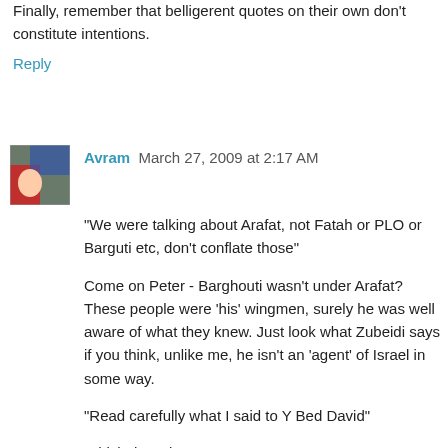Finally, remember that belligerent quotes on their own don't constitute intentions.
Reply
Avram  March 27, 2009 at 2:17 AM
"We were talking about Arafat, not Fatah or PLO or Barguti etc, don't conflate those"
Come on Peter - Barghouti wasn't under Arafat? These people were 'his' wingmen, surely he was well aware of what they knew. Just look what Zubeidi says if you think, unlike me, he isn't an 'agent' of Israel in some way.
"Read carefully what I said to Y Bed David"
Which thread?
"I don't think that Arafat planned the intifada, he joined the uprising"
And was in rather good control of it, as pointed out by